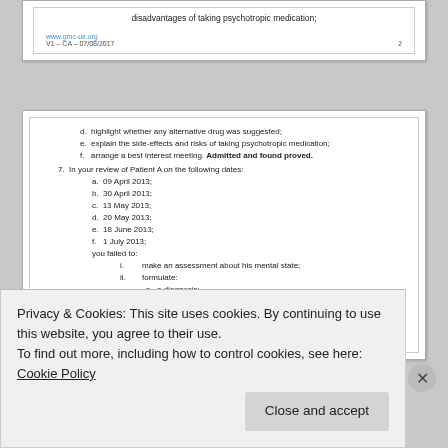disadvantages of taking psychotropic medication;
www.gmc-uk.org
V1 - CA - 07/08/2017
d. highlight whether any alternative drug was suggested;
e. explain the side-effects and risks of taking psychotropic medication;
f. arrange a best interest meeting. Admitted and found proved.
7. In your review of Patient A on the following dates:
a. 09 April 2013;
b. 30 April 2013;
c. 13 May 2013;
d. 20 May 2013;
e. 18 June 2013;
f. 1 July 2013;
you failed to:
i. make an assessment about his mental state;
ii. formulate:
a. a diagnosis;
b. an aetiology;
c. a risk assessment.
8. In your record keeping of Patient's A consultations, you failed to:
a. make comprehensive notes; Admitted and found proved.
Privacy & Cookies: This site uses cookies. By continuing to use this website, you agree to their use. To find out more, including how to control cookies, see here: Cookie Policy